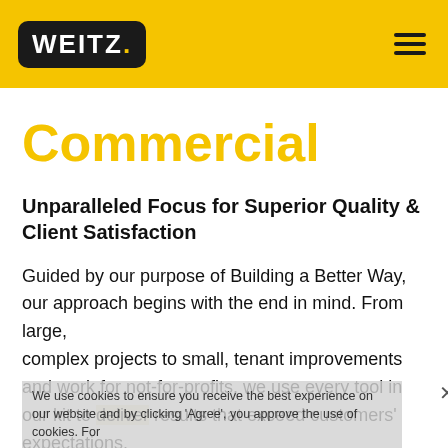WEITZ
Commercial
Unparalleled Focus for Superior Quality & Client Satisfaction
Guided by our purpose of Building a Better Way, our approach begins with the end in mind. From large, complex projects to small, tenant improvements and work for not-for-profits, we use every tool in our kit to deliver results that exceed customers' expectations.